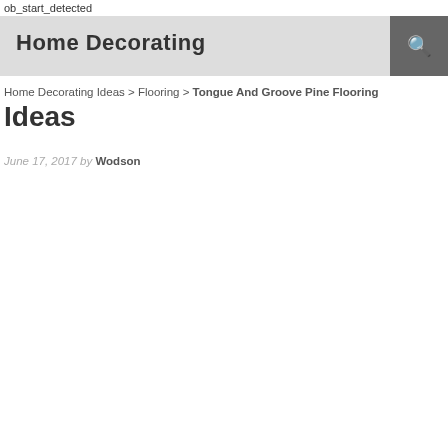ob_start_detected
Home Decorating
Home Decorating Ideas > Flooring > Tongue And Groove Pine Flooring Ideas
June 17, 2017 by Wodson